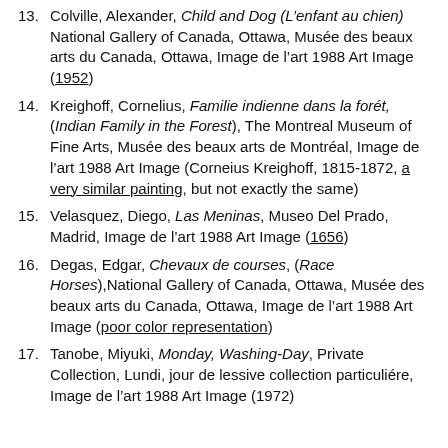13. Colville, Alexander, Child and Dog (L'enfant au chien) National Gallery of Canada, Ottawa, Musée des beaux arts du Canada, Ottawa, Image de l'art 1988 Art Image (1952)
14. Kreighoff, Cornelius, Familie indienne dans la forêt, (Indian Family in the Forest), The Montreal Museum of Fine Arts, Musée des beaux arts de Montréal, Image de l'art 1988 Art Image (Corneius Kreighoff, 1815-1872, a very similar painting, but not exactly the same)
15. Velasquez, Diego, Las Meninas, Museo Del Prado, Madrid, Image de l'art 1988 Art Image (1656)
16. Degas, Edgar, Chevaux de courses, (Race Horses), National Gallery of Canada, Ottawa, Musée des beaux arts du Canada, Ottawa, Image de l'art 1988 Art Image (poor color representation)
17. Tanobe, Miyuki, Monday, Washing-Day, Private Collection, Lundi, jour de lessive collection particulière, Image de l'art 1988 Art Image (1972)